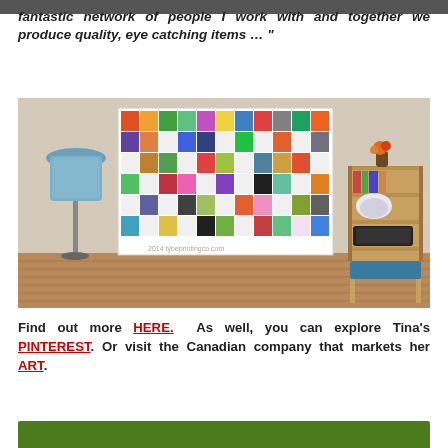fantastic network of people I work with and together we produce quality, eye catching items ..."
[Figure (photo): A colorful mosaic/grid artwork displayed on a white brick wall in a living room setting, with a blue floor lamp on the left and a wooden shelf unit with books and dishes on the right, hardwood floor visible.]
Find out more HERE.  As well, you can explore Tina’s PINTEREST. Or visit the Canadian company that markets her ART.
[Figure (other): Green bar at bottom of page]